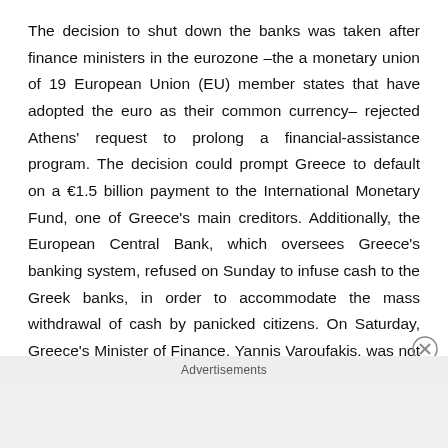The decision to shut down the banks was taken after finance ministers in the eurozone –the a monetary union of 19 European Union (EU) member states that have adopted the euro as their common currency– rejected Athens' request to prolong a financial-assistance program. The decision could prompt Greece to default on a €1.5 billion payment to the International Monetary Fund, one of Greece's main creditors. Additionally, the European Central Bank, which oversees Greece's banking system, refused on Sunday to infuse cash to the Greek banks, in order to accommodate the mass withdrawal of cash by panicked citizens. On Saturday, Greece's Minister of Finance, Yannis Varoufakis, was not allowed to attend
Advertisements